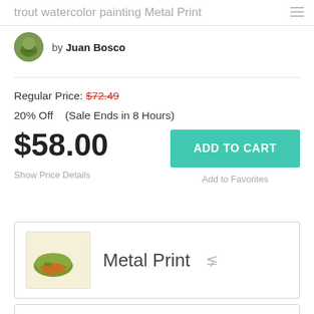trout watercolor painting Metal Print
by Juan Bosco
Regular Price: $72.49
20% Off   (Sale Ends in 8 Hours)
$58.00
Show Price Details
ADD TO CART
Add to Favorites
Pay in 4 interest-free payments of $14.50 with PayPal. Learn more
Metal Print